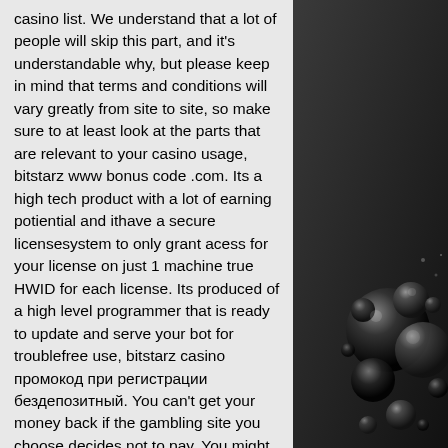casino list. We understand that a lot of people will skip this part, and it's understandable why, but please keep in mind that terms and conditions will vary greatly from site to site, so make sure to at least look at the parts that are relevant to your casino usage, bitstarz www bonus code .com. Its a high tech product with a lot of earning potiential and ithave a secure licensesystem to only grant acess for your license on just 1 machine true HWID for each license. Its produced of a high level programmer that is ready to update and serve your bot for troublefree use, bitstarz casino промокод при регистрации бездепозитный. You can't get your money back if the gambling site you choose decides not to pay. You might make winning bets, but if Ethereum's price drops, your win might become a loss, bitstarz casino mobile. Bitcoin Gambling in the UK, bitstarz bonus
[Figure (illustration): Dark background with reflective black bubbles/spheres of various sizes arranged in the right portion of the image]